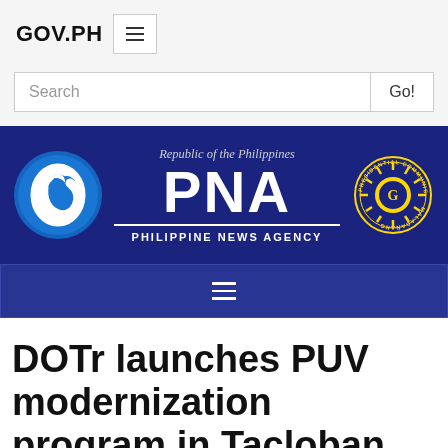GOV.PH
[Figure (logo): Philippine News Agency banner with PNA logo circle on left, 'Republic of the Philippines / PNA / PHILIPPINE NEWS AGENCY' text in center, Presidential Communications Malacañang seal on right, all on dark blue background]
DOTr launches PUV modernization program in Tacloban